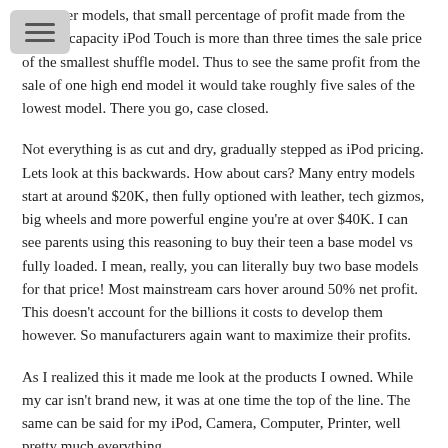the lower models, that small percentage of profit made from the highest capacity iPod Touch is more than three times the sale price of the smallest shuffle model. Thus to see the same profit from the sale of one high end model it would take roughly five sales of the lowest model. There you go, case closed.
Not everything is as cut and dry, gradually stepped as iPod pricing. Lets look at this backwards. How about cars? Many entry models start at around $20K, then fully optioned with leather, tech gizmos, big wheels and more powerful engine you're at over $40K. I can see parents using this reasoning to buy their teen a base model vs fully loaded. I mean, really, you can literally buy two base models for that price! Most mainstream cars hover around 50% net profit. This doesn't account for the billions it costs to develop them however. So manufacturers again want to maximize their profits.
As I realized this it made me look at the products I owned. While my car isn't brand new, it was at one time the top of the line. The same can be said for my iPod, Camera, Computer, Printer, well pretty much everything